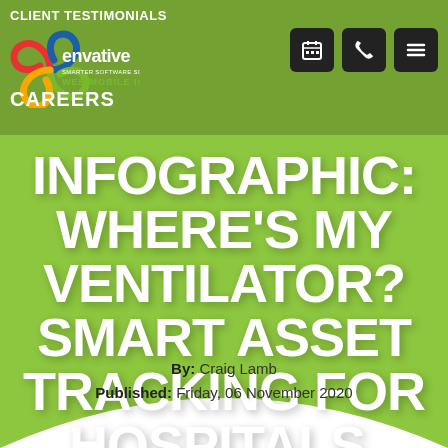CLIENT TESTIMONIALS
[Figure (logo): Envative logo – Smarter Software Solutions, Web Mobile IoT, with colorful swirl icon]
CAREERS
INFOGRAPHIC: WHERE'S MY VENTILATOR? SMART ASSET TRACKING FOR HOSPITALS.
By: Craig Lamb
Published: Friday, 06 November 2020